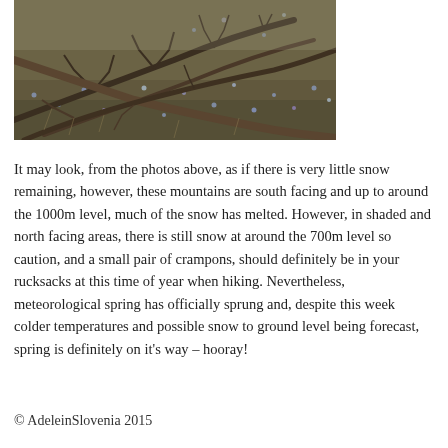[Figure (photo): Outdoor nature photo showing fallen branches and bare twigs on ground with sparse small flowers, south-facing mountain terrain in early spring.]
It may look, from the photos above, as if there is very little snow remaining, however, these mountains are south facing and up to around the 1000m level, much of the snow has melted. However, in shaded and north facing areas, there is still snow at around the 700m level so caution, and a small pair of crampons, should definitely be in your rucksacks at this time of year when hiking. Nevertheless, meteorological spring has officially sprung and, despite this week colder temperatures and possible snow to ground level being forecast, spring is definitely on it's way – hooray!
© AdeleinSlovenia 2015